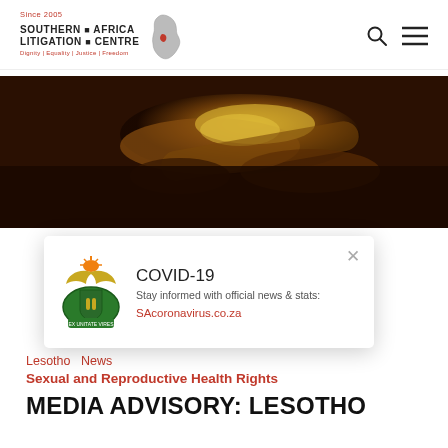Southern Africa Litigation Centre — Since 2005 — Dignity | Equality | Justice | Freedom
[Figure (photo): Close-up photo of a judge's gavel with warm golden-brown tones]
[Figure (infographic): COVID-19 popup banner with South African coat of arms emblem. Title: COVID-19. Text: Stay informed with official news & stats: SAcoronavirus.co.za]
Lesotho  News
Sexual and Reproductive Health Rights
MEDIA ADVISORY: LESOTHO